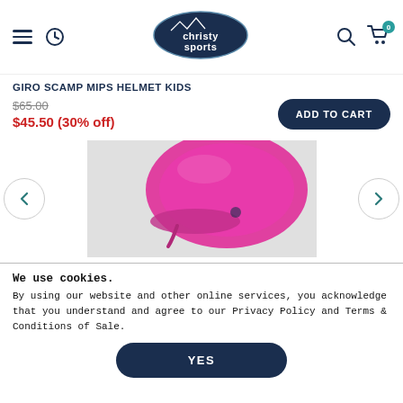[Figure (logo): Christy Sports logo — white text on dark navy oval with mountain silhouette]
GIRO SCAMP MIPS HELMET KIDS
$65.00
$45.50 (30% off)
[Figure (photo): Pink/magenta ski helmet (Giro Scamp MIPS) partially visible, cropped, on light gray background]
We use cookies.
By using our website and other online services, you acknowledge that you understand and agree to our Privacy Policy and Terms & Conditions of Sale.